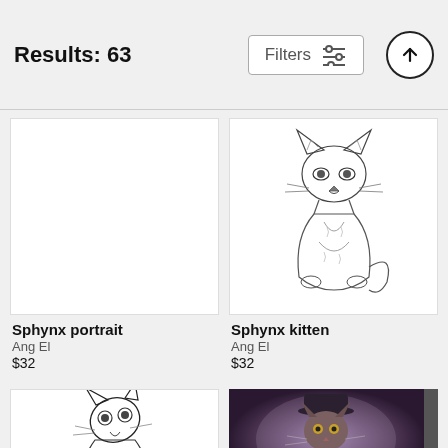Results: 63
Filters
[Figure (illustration): Sphynx portrait illustration (left card, image area mostly blank/white)]
[Figure (illustration): Sphynx kitten illustration – detailed pen-and-ink drawing of a sitting hairless cat]
Sphynx portrait
Ang El
$32
Sphynx kitten
Ang El
$32
[Figure (illustration): Black and white illustration of a cat looking upward]
[Figure (photo): Stylized vintage-look photo of a cat dressed in a hat and jacket, dark moody background]